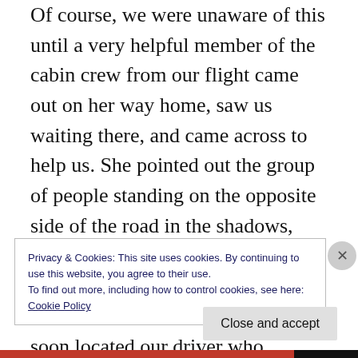Of course, we were unaware of this until a very helpful member of the cabin crew from our flight came out on her way home, saw us waiting there, and came across to help us. She pointed out the group of people standing on the opposite side of the road in the shadows, and advised us that we had to go and find our rep. Thanking her, and armed with this information, we soon located our driver who whisked us off to the Somak Lounge at the company's offices on Mombassa Road, to wait
Privacy & Cookies: This site uses cookies. By continuing to use this website, you agree to their use.
To find out more, including how to control cookies, see here:
Cookie Policy